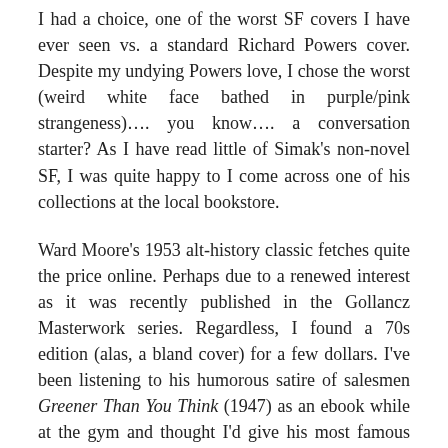I had a choice, one of the worst SF covers I have ever seen vs. a standard Richard Powers cover. Despite my undying Powers love, I chose the worst (weird white face bathed in purple/pink strangeness)…. you know…. a conversation starter? As I have read little of Simak's non-novel SF, I was quite happy to I come across one of his collections at the local bookstore.
Ward Moore's 1953 alt-history classic fetches quite the price online. Perhaps due to a renewed interest as it was recently published in the Gollancz Masterwork series. Regardless, I found a 70s edition (alas, a bland cover) for a few dollars. I've been listening to his humorous satire of salesmen Greener Than You Think (1947) as an ebook while at the gym and thought I'd give his most famous novel a go...